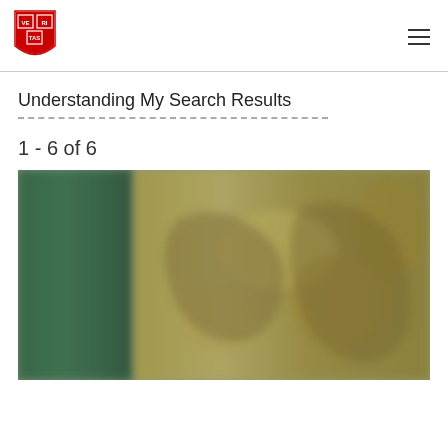Harvard Library header with logo and navigation
Understanding My Search Results
1 - 6 of 6
[Figure (photo): Blurred photograph of a book showing green spine and decorated cover with aged manuscript-style artwork]